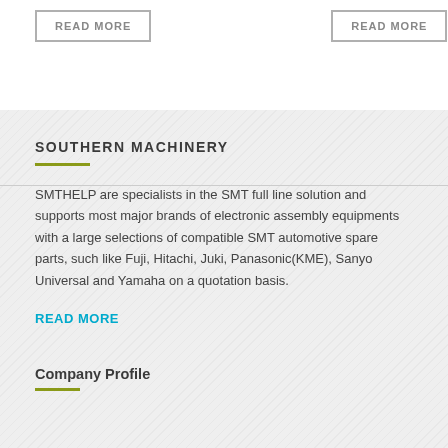READ MORE
READ MORE
SOUTHERN MACHINERY
SMTHELP are specialists in the SMT full line solution and supports most major brands of electronic assembly equipments with a large selections of compatible SMT automotive spare parts, such like Fuji, Hitachi, Juki, Panasonic(KME), Sanyo Universal and Yamaha on a quotation basis.
READ MORE
Company Profile